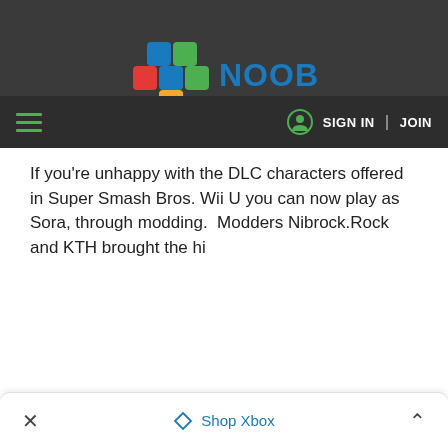[Figure (logo): NoobFeed logo: colorful plus-sign icon with blue, green, red, and yellow/orange squares, next to the text NOOBFEED in bold blue letters on a dark background]
SIGN IN | JOIN
If you're unhappy with the DLC characters offered in Super Smash Bros. Wii U you can now play as Sora, through modding.  Modders Nibrock.Rock and KTH brought the hi
× Shop Xbox ∧